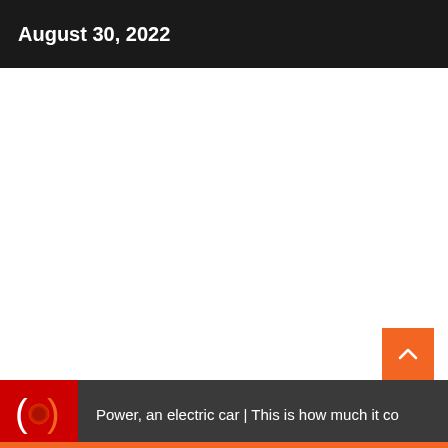August 30, 2022
[Figure (screenshot): White blank content area of a webpage]
[Figure (logo): Radio/media logo with circular speaker icon in red and orange on dark red background]
Power, an electric car | This is how much it co